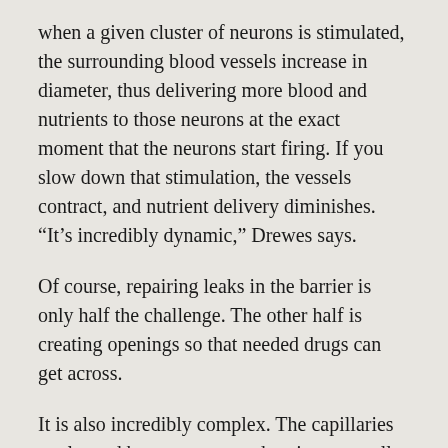when a given cluster of neurons is stimulated, the surrounding blood vessels increase in diameter, thus delivering more blood and nutrients to those neurons at the exact moment that the neurons start firing. If you slow down that stimulation, the vessels contract, and nutrient delivery diminishes. “It’s incredibly dynamic,” Drewes says.
Of course, repairing leaks in the barrier is only half the challenge. The other half is creating openings so that needed drugs can get across.
It is also incredibly complex. The capillaries are looped by astrocytes and pericytes—cells that envelop the entire vascular system and appear to facilitate communication between blood, endothelia and neurons. These cells are in turn orbited by other cells.